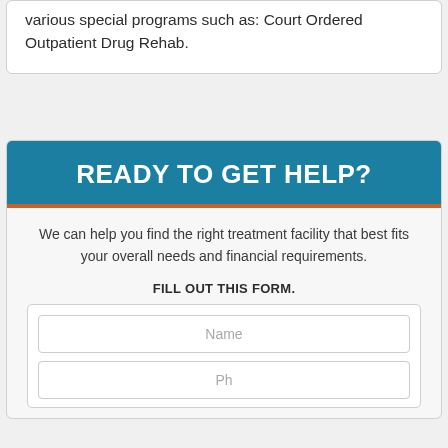various special programs such as: Court Ordered Outpatient Drug Rehab.
READY TO GET HELP?
We can help you find the right treatment facility that best fits your overall needs and financial requirements.
FILL OUT THIS FORM.
Name
Ph...